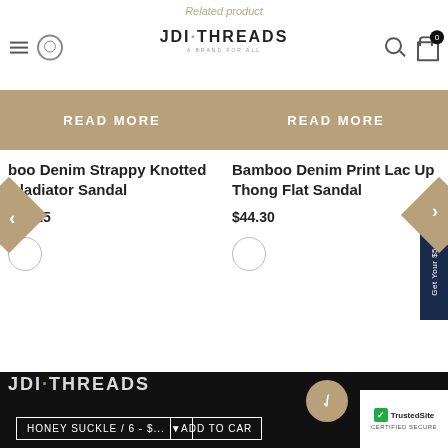Related product | JDI·THREADS logo header with hamburger, profile, search, and cart icons
[Figure (screenshot): READ MORE button (tan/khaki) for left product card - Bamboo Denim Strappy Knotted Gladiator Sandal]
boo Denim Strappy Knotted Gladiator Sandal
$46.25
[Figure (screenshot): READ MORE button (tan/khaki) for right product card - Bamboo Denim Print Lace Up Thong Flat Sandal]
Bamboo Denim Print Lace Up Thong Flat Sandal
$44.30
[Figure (screenshot): Bottom dark section with JDI Threads logo, tan circle icon, HONEY SUCKLE / 6 - $... dropdown selector, ADD TO CART button, and TrustedSite Certified Secure badge. Side tab reading Get Your $5 Now!]
HONEY SUCKLE / 6 - $...
ADD TO CART
[Figure (logo): TrustedSite CERTIFIED SECURE badge]
Get Your $5 Now!